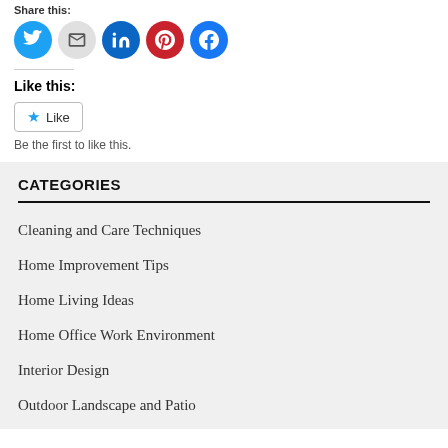Share this:
[Figure (infographic): Social media share icons: Twitter (blue), Email (gray), LinkedIn (dark blue), Pinterest (red), Facebook (blue)]
Like this:
Like
Be the first to like this.
CATEGORIES
Cleaning and Care Techniques
Home Improvement Tips
Home Living Ideas
Home Office Work Environment
Interior Design
Outdoor Landscape and Patio